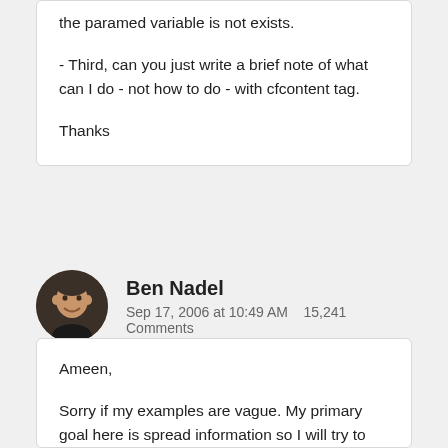the paramed variable is not exists.

- Third, can you just write a brief note of what can I do - not how to do - with cfcontent tag.

Thanks
Ben Nadel
Sep 17, 2006 at 10:49 AM   15,241 Comments
Ameen,

Sorry if my examples are vague. My primary goal here is spread information so I will try to make my examples clearer. In